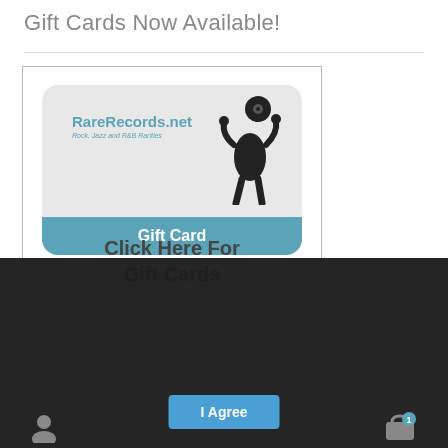Gift Cards Now Available!
[Figure (illustration): RareRecords.net gift card image showing logo with silhouette of person holding a vinyl record, tagline 'Rock, Jazz and R&B Rarities', and a teal 'Gift Card' banner at the bottom]
This site makes use of cookies which may contain tracking information about visitors. By continuing to browse this site you agree to our use of cookies.
Privacy Preferences
I Agree